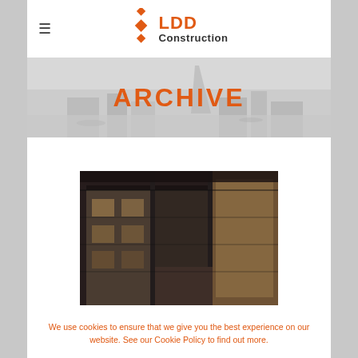[Figure (logo): LDD Construction logo with orange diamond shapes and company name]
ARCHIVE
[Figure (photo): Interior architectural rendering of a modern building with glass facade, steel structure, and corridor]
We use cookies to ensure that we give you the best experience on our website. See our Cookie Policy to find out more.